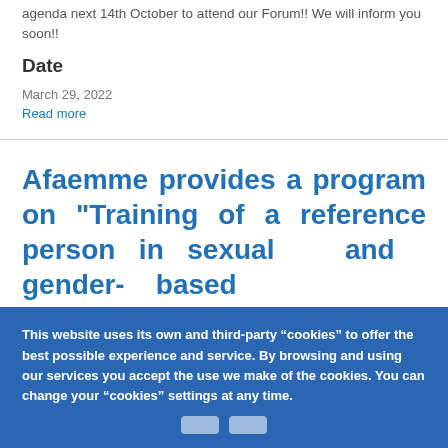agenda next 14th October to attend our Forum!! We will inform you soon!!
Date
March 29, 2022
Read more
Afaemme provides a program on "Training of a reference person in sexual and gender- based
This website uses its own and third-party “cookies” to offer the best possible experience and service. By browsing and using our services you accept the use we make of the cookies. You can change your “cookies” settings at any time.